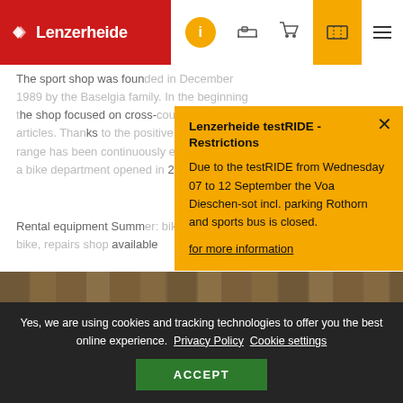Lenzerheide navigation bar with logo, info, accommodation, cart, ticket, and menu icons
The sport shop was founded in December 1989 by the Baselgia family. In the beginning the shop focused on cross-country ski articles. Thanks to the positive feedback, the range has been continuously expanded, and a bike department opened in 2011.
Rental equipment Summer: bike, electric bike, repairs shop available
Lenzerheide testRIDE - Restrictions
Due to the testRIDE from Wednesday 07 to 12 September the Voa Dieschen-sot incl. parking Rothorn and sports bus is closed.
for more information
[Figure (photo): Bicycles parked indoors against a wooden wall background]
Yes, we are using cookies and tracking technologies to offer you the best online experience. Privacy Policy Cookie settings ACCEPT